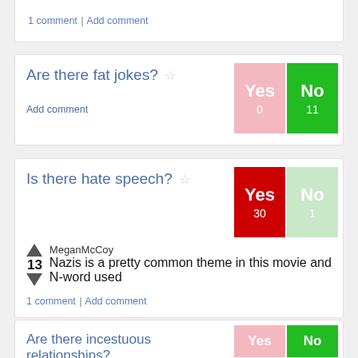1 comment | Add comment
Are there fat jokes? ☆
Yes 0 / No 11
Add comment
Is there hate speech? ☆
Yes 30 / No 1
MeganMcCoy
13  Nazis is a pretty common theme in this movie and N-word used
1 comment | Add comment
Is someone sexually assaulted? ☆
Yes 1 / No 10
more info: UnconsentingMedia.org
Add comment
Are there incestuous relationships?
Yes / No